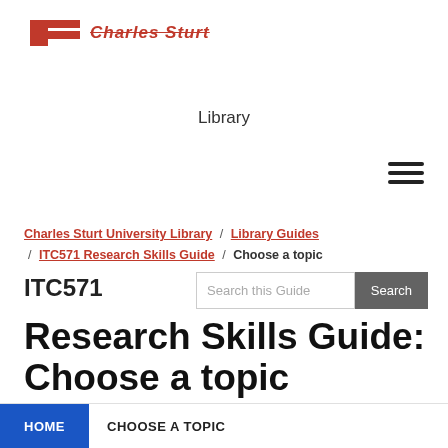Charles Sturt University Library
Library
Charles Sturt University Library / Library Guides / ITC571 Research Skills Guide / Choose a topic
ITC571 Research Skills Guide: Choose a topic
HOME   CHOOSE A TOPIC